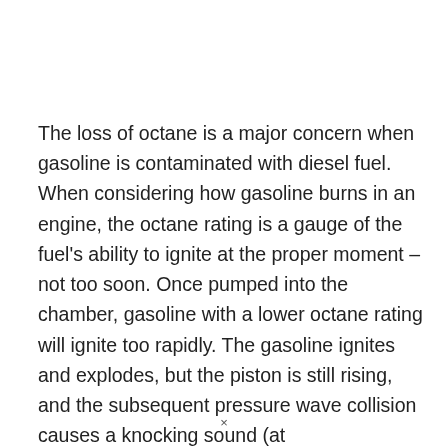The loss of octane is a major concern when gasoline is contaminated with diesel fuel. When considering how gasoline burns in an engine, the octane rating is a gauge of the fuel's ability to ignite at the proper moment – not too soon. Once pumped into the chamber, gasoline with a lower octane rating will ignite too rapidly. The gasoline ignites and explodes, but the piston is still rising, and the subsequent pressure wave collision causes a knocking sound (at
×